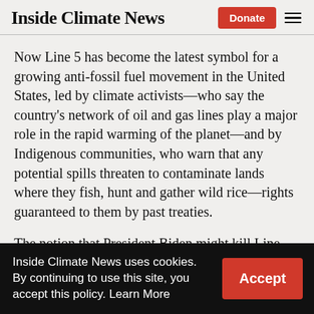Inside Climate News
Now Line 5 has become the latest symbol for a growing anti-fossil fuel movement in the United States, led by climate activists—who say the country's network of oil and gas lines play a major role in the rapid warming of the planet—and by Indigenous communities, who warn that any potential spills threaten to contaminate lands where they fish, hunt and gather wild rice—rights guaranteed to them by past treaties.
The notion that President Biden might kill Line
Inside Climate News uses cookies. By continuing to use this site, you accept this policy. Learn More